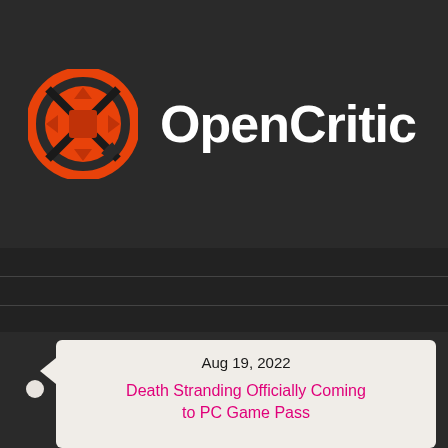[Figure (logo): OpenCritic logo with orange circle icon containing an X and controller d-pad, with white text 'OpenCritic' beside it]
Aug 19, 2022
Death Stranding Officially Coming to PC Game Pass